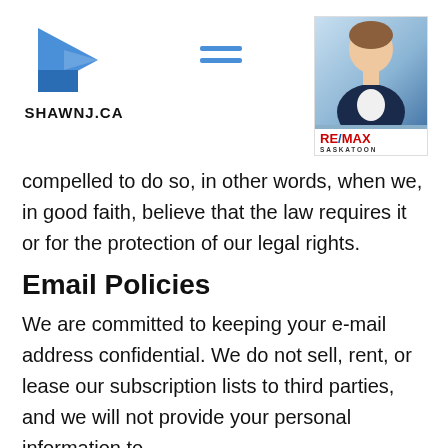[Figure (logo): SHAWNJ.CA logo — blue angular arrow/house shape with text SHAWNJ.CA below]
[Figure (photo): RE/MAX Saskatoon agent headshot photo with RE/MAX Saskatoon badge at bottom]
compelled to do so, in other words, when we, in good faith, believe that the law requires it or for the protection of our legal rights.
Email Policies
We are committed to keeping your e-mail address confidential. We do not sell, rent, or lease our subscription lists to third parties, and we will not provide your personal information to any third-party individual, government...